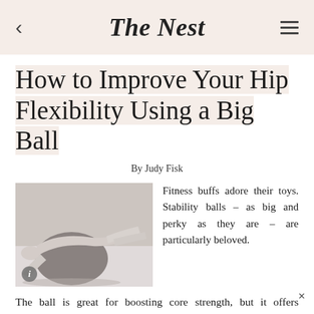The Nest
How to Improve Your Hip Flexibility Using a Big Ball
By Judy Fisk
[Figure (photo): Grayscale photo of a person lying over a large stability ball in a stretch pose]
Fitness buffs adore their toys. Stability balls – as big and perky as they are – are particularly beloved.
The ball is great for boosting core strength, but it offers awesome flexibility benefits as well. If the